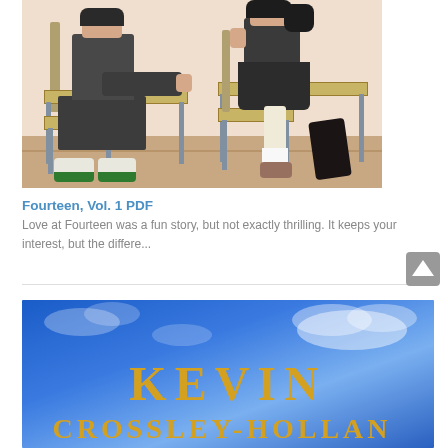[Figure (illustration): Manga-style illustration of two students (a boy and a girl) sitting on school chairs at desks. The boy leans on the desk on the left; the girl sits on the right. Both wear school uniforms. The setting appears to be a classroom with wooden flooring.]
Fourteen, Vol. 1 PDF
Love at Fourteen was a fun story, but not exactly thrilling. It keeps your interest, but the differe...
[Figure (illustration): Blue sky background with clouds. Large golden text reads 'KEVIN' and below it 'CROSSLEY-HOLLAND' in golden serif lettering.]